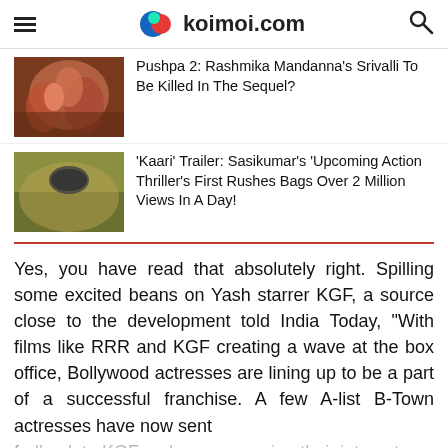koimoi.com
[Figure (photo): Thumbnail image for Pushpa 2 article showing women in colorful sarees]
Pushpa 2: Rashmika Mandanna's Srivalli To Be Killed In The Sequel?
[Figure (photo): Thumbnail image for Kaari trailer article showing a man with a helmet]
‘Kaari’ Trailer: Sasikumar’s ‘Upcoming Action Thriller’s First Rushes Bags Over 2 Million Views In A Day!
Yes, you have read that absolutely right. Spilling some excited beans on Yash starrer KGF, a source close to the development told India Today, “With films like RRR and KGF creating a wave at the box office, Bollywood actresses are lining up to be a part of a successful franchise. A few A-list B-Town actresses have now sent
ADVERTISEMENT